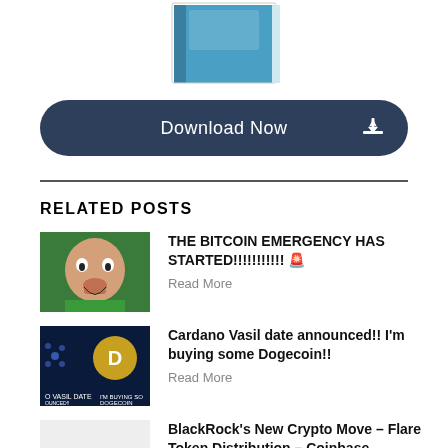[Figure (illustration): Partial view of a book cover at the top of the page]
Download Now
RELATED POSTS
[Figure (photo): Man in green shirt with surprised/shocked expression]
THE BITCOIN EMERGENCY HAS STARTED!!!!!!!!!!! 🚨
Read More
[Figure (screenshot): Cardano and Dogecoin themed thumbnail with text: O VASIL DATE ANNOUNCED!! I'M BUYING SO DOGECOIN]
Cardano Vasil date announced!! I'm buying some Dogecoin!!
Read More
BlackRock's New Crypto Move – Flare Token Distribution – Coinbase